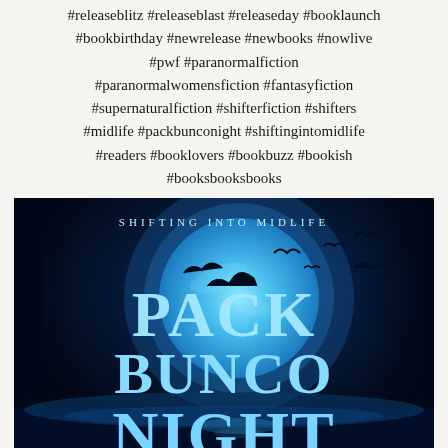#releaseblitz #releaseblast #releaseday #booklaunch #bookbirthday #newrelease #newbooks #nowlive #pwf #paranormalfiction #paranormalwomensfiction #fantasyfiction #supernaturalfiction #shifterfiction #shifters #midlife #packbunconight #shiftingintomidlife #readers #booklovers #bookbuzz #bookish #booksbooksbooks
[Figure (illustration): Book cover for 'Pack Bunco Night' from the 'Shifting Into Midlife' series. Dark blue background with a large glowing full moon, silhouettes of birds/bats flying, ocean or water below, and large stylized text reading 'PACK BUNCO NIGHT' in light blue/teal lettering. Series title 'SHIFTING INTO MIDLIFE' appears at the top in smaller spaced caps.]